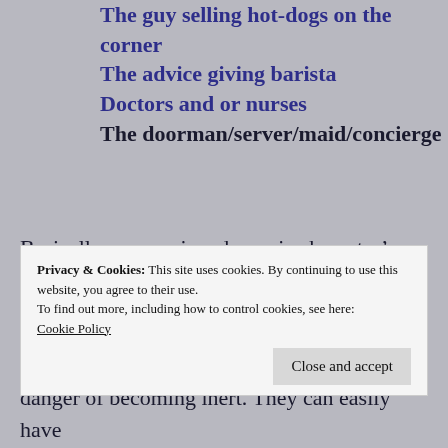The guy selling hot-dogs on the corner
The advice giving barista
Doctors and or nurses
The doorman/server/maid/concierge
Basically, anyone in a dynamic character’s life that are not directly a part of it. There have been times when a static character is pulled into the story and becomes dynamic, but I choose them carefully and try to replace them with another static character.  I’ve also had characters that are constantly around the most dynamic and
Privacy & Cookies: This site uses cookies. By continuing to use this website, you agree to their use.
To find out more, including how to control cookies, see here:
Cookie Policy
danger of becoming inert. They can easily have